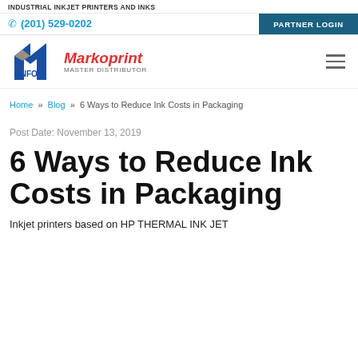INDUSTRIAL INKJET PRINTERS AND INKS
(201) 529-0202 | PARTNER LOGIN
[Figure (logo): INFO Markoprint Master Distributor logo with blue arrow/chevron icon]
Home » Blog » 6 Ways to Reduce Ink Costs in Packaging
Post Date: November 13, 2019
6 Ways to Reduce Ink Costs in Packaging
Inkjet printers based on HP THERMAL INK JET